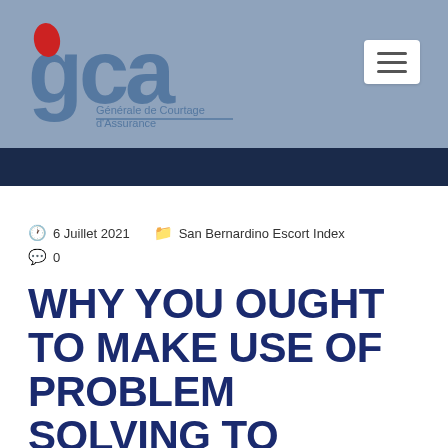[Figure (logo): GCA - Générale de Courtage d'Assurance logo with red oval and blue lettering]
6 Juillet 2021   San Bernardino Escort Index   0
WHY YOU OUGHT TO MAKE USE OF PROBLEM SOLVING TO ENHANCE